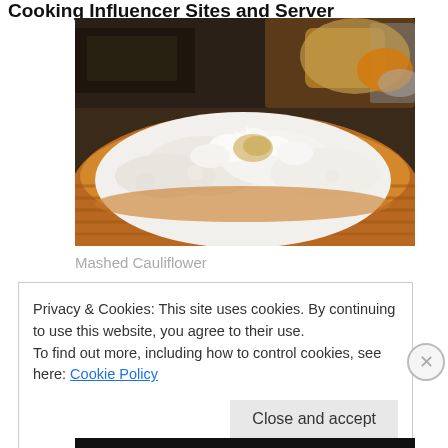Cooking Influencer Sites and Server
[Figure (photo): Close-up photo of mashed cauliflower in a brown/orange ceramic bowl, with a background showing a kitchen setting]
Mashed Cauliflower
Privacy & Cookies: This site uses cookies. By continuing to use this website, you agree to their use.
To find out more, including how to control cookies, see here: Cookie Policy
Close and accept